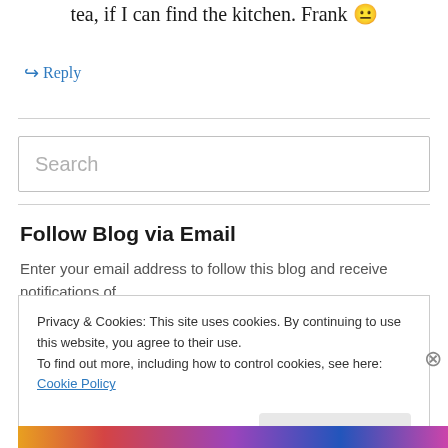tea, if I can find the kitchen. Frank 😐
↪ Reply
Search
Follow Blog via Email
Enter your email address to follow this blog and receive notifications of
Privacy & Cookies: This site uses cookies. By continuing to use this website, you agree to their use.
To find out more, including how to control cookies, see here: Cookie Policy
Close and accept